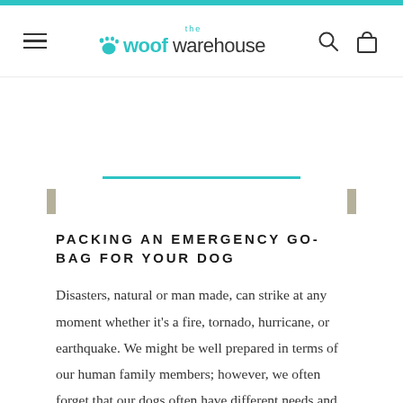the woof warehouse
PACKING AN EMERGENCY GO-BAG FOR YOUR DOG
Disasters, natural or man made, can strike at any moment whether it's a fire, tornado, hurricane, or earthquake. We might be well prepared in terms of our human family members; however, we often forget that our dogs often have different needs and might not be as prepared when disaster strikes. Here are just a few items you should consider packing in those all important